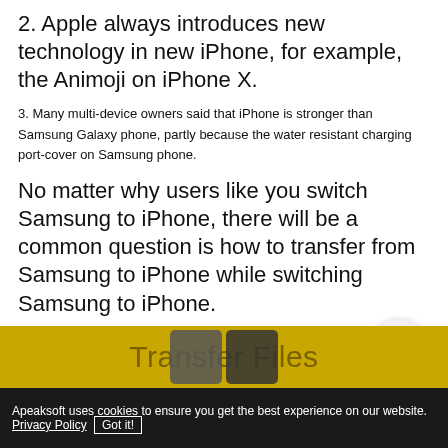2. Apple always introduces new technology in new iPhone, for example, the Animoji on iPhone X.
3. Many multi-device owners said that iPhone is stronger than Samsung Galaxy phone, partly because the water resistant charging port-cover on Samsung phone.
No matter why users like you switch Samsung to iPhone, there will be a common question is how to transfer from Samsung to iPhone while switching Samsung to iPhone.
Here, we gather the efficient 6 methods to transfer data from Samsung to iPhone.
Which one is the best one? Leave your comments after reading this post.
Transfer Files
Apeaksoft uses cookies to ensure you get the best experience on our website. Privacy Policy  Got it!